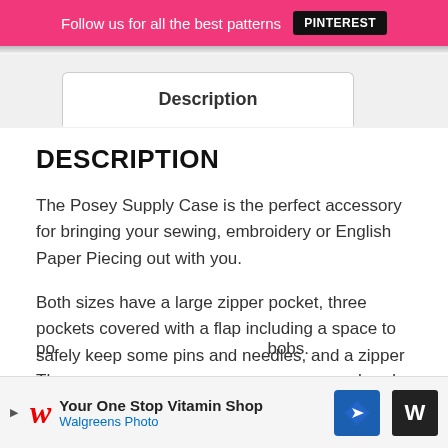Follow us for all the best patterns  PINTEREST
Description
DESCRIPTION
The Posey Supply Case is the perfect accessory for bringing your sewing, embroidery or English Paper Piecing out with you.
Both sizes have a large zipper pocket, three pockets covered with a flap including a space to safely keep some pins and needles, and a zipper po...
[Figure (other): Walgreens Photo advertisement banner: 'Your One Stop Vitamin Shop / Walgreens Photo' with navigation arrow icon]